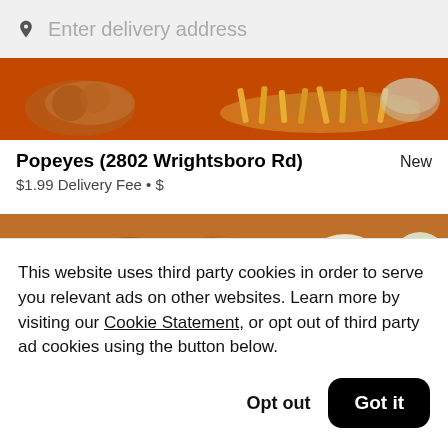Enter delivery address
[Figure (photo): Top banner showing Popeyes food — orange background with fried chicken and fries]
Popeyes (2802 Wrightsboro Rd)  New
$1.99 Delivery Fee • $
[Figure (photo): Second banner showing fried chicken strips, dipping sauces, and coleslaw on trays]
This website uses third party cookies in order to serve you relevant ads on other websites. Learn more by visiting our Cookie Statement, or opt out of third party ad cookies using the button below.
Opt out
Got it